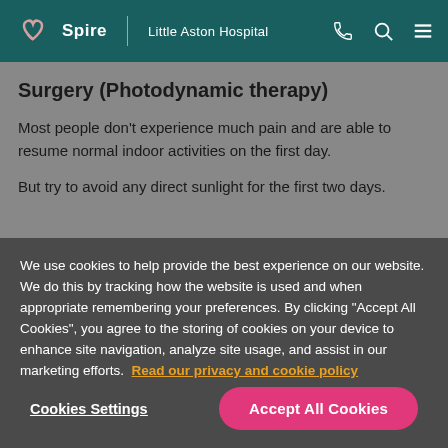Spire | Little Aston Hospital
Surgery (Photodynamic therapy)
Most people don't experience much pain and are able to resume normal indoor activities on the first day.
But try to avoid any direct sunlight for the first two days. This might because of a first day list of...
We use cookies to help provide the best experience on our website. We do this by tracking how the website is used and when appropriate remembering your preferences. By clicking "Accept All Cookies", you agree to the storing of cookies on your device to enhance site navigation, analyze site usage, and assist in our marketing efforts.  Read our privacy and cookie policy
Cookies Settings
Accept All Cookies